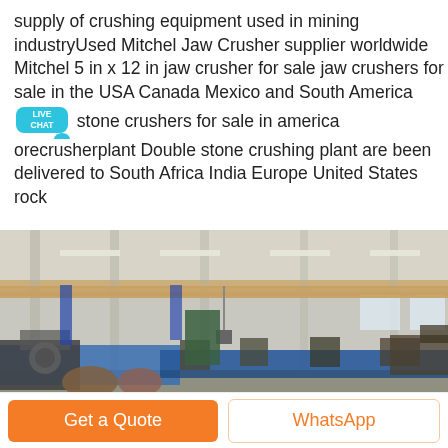supply of crushing equipment used in mining industryUsed Mitchel Jaw Crusher supplier worldwide Mitchel 5 in x 12 in jaw crusher for sale jaw crushers for sale in the USA Canada Mexico and South America stone crushers for sale in america orecrusherplant Double stone crushing plant are been delivered to South Africa India Europe United States rock
[Figure (photo): Interior of a large industrial factory/manufacturing hall with overhead crane beams, fluorescent lighting, and rows of heavy industrial machinery and blue equipment along the floor.]
Get a Quote
WhatsApp